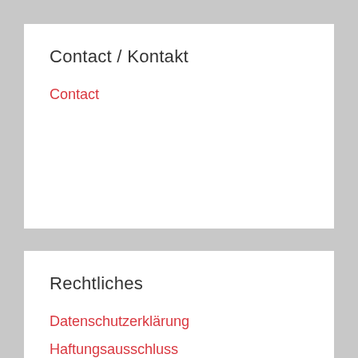Contact / Kontakt
Contact
Rechtliches
Datenschutzerklärung
Haftungsausschluss
Impressum
WordPress Theme: Donovan by ThemeZee.